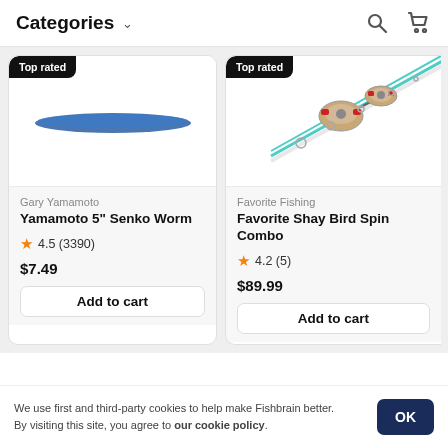Categories
[Figure (photo): Product image of Gary Yamamoto Senko Worm - blue oval worm lure shown from above on white background, with 'Top rated' badge]
Gary Yamamoto
Yamamoto 5" Senko Worm
4.5 (3390)
$7.49
Add to cart
[Figure (photo): Product image of Favorite Shay Bird Spinning Combo - fishing rod and reel combo with teal/green rod and red reels shown on white background, with 'Top rated' badge]
Favorite Fishing
Favorite Shay Bird Spinning Combo
4.2 (5)
$89.99
Add to cart
We use first and third-party cookies to help make Fishbrain better. By visiting this site, you agree to our cookie policy.